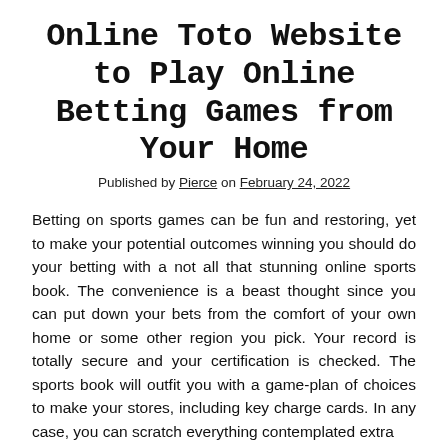Online Toto Website to Play Online Betting Games from Your Home
Published by Pierce on February 24, 2022
Betting on sports games can be fun and restoring, yet to make your potential outcomes winning you should do your betting with a not all that stunning online sports book. The convenience is a beast thought since you can put down your bets from the comfort of your own home or some other region you pick. Your record is totally secure and your certification is checked. The sports book will outfit you with a game-plan of choices to make your stores, including key charge cards. In any case, you can scratch everything contemplated extra